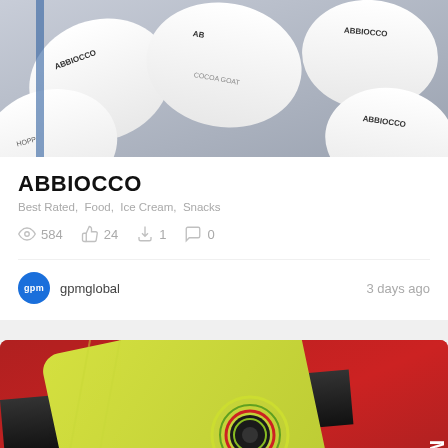[Figure (photo): Top-down photo of white ABBIOCCO branded ice cream/snack cups with animal illustrations and text]
ABBIOCCO
Best Rated,  Food,  Ice Cream,  Snacks
584 views  24 likes  1 saves  0 comments
gpmglobal   3 days ago
[Figure (photo): Close-up photo of red and yellow branded energy drink cans with moisture droplets, showing partial logo text]